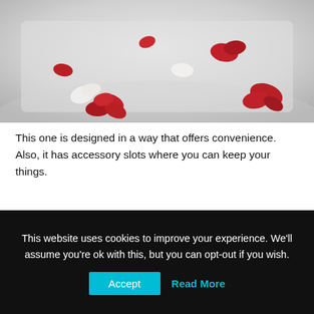[Figure (photo): Top-down view of a white bathtub with red and white rose petals floating in water]
This one is designed in a way that offers convenience. Also, it has accessory slots where you can keep your things.
In addition to that, the bathtub caddy is waterproof and offers durability. The caddy is made of high quality bamboo woods and has a coating of thin lacquer on the top.
This website uses cookies to improve your experience. We'll assume you're ok with this, but you can opt-out if you wish.
Accept
Read More